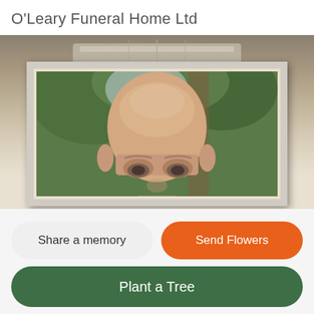O'Leary Funeral Home Ltd
[Figure (photo): Framed portrait photograph of an elderly bald man, shown from shoulders up, with green foliage in the background. The photo is displayed in a light cream/beige picture frame against a metallic chrome-like background.]
Share a memory
Send Flowers
Plant a Tree